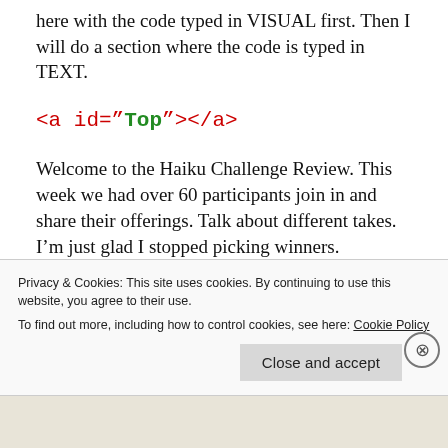here with the code typed in VISUAL first. Then I will do a section where the code is typed in TEXT.
<a id="Top"></a>
Welcome to the Haiku Challenge Review. This week we had over 60 participants join in and share their offerings. Talk about different takes. I’m just glad I stopped picking winners.
Click on the Category below to go to the section.
Privacy & Cookies: This site uses cookies. By continuing to use this website, you agree to their use.
To find out more, including how to control cookies, see here: Cookie Policy
[Close and accept]